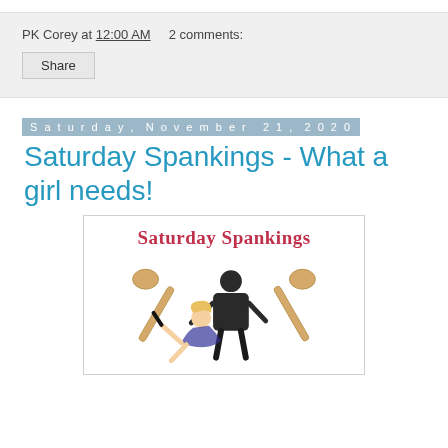PK Corey at 12:00 AM   2 comments:
Share
Saturday, November 21, 2020
Saturday Spankings - What a girl needs!
[Figure (illustration): Saturday Spankings logo image showing two wooden spoons and a man spanking a woman, with text 'Saturday Spankings' in red at the top]